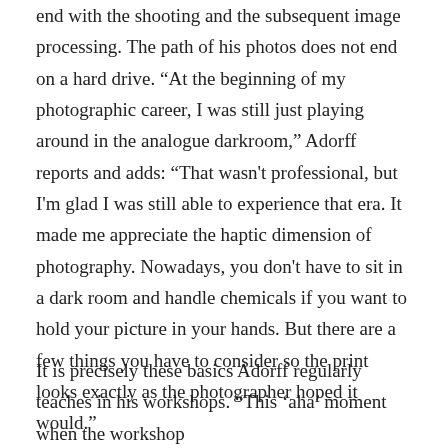end with the shooting and the subsequent image processing. The path of his photos does not end on a hard drive. “At the beginning of my photographic career, I was still just playing around in the analogue darkroom,” Adorff reports and adds: “That wasn't professional, but I'm glad I was still able to experience that era. It made me appreciate the haptic dimension of photography. Nowadays, you don't have to sit in a dark room and handle chemicals if you want to hold your picture in your hands. But there are a few things you have to consider so the print looks exactly as the photographer hoped it would.”
It is precisely these basics Adorff regularly teaches in his workshops. “This ‘aha’ moment when the workshop